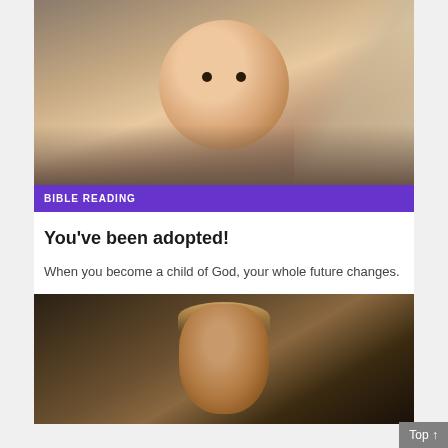[Figure (photo): Close-up photo of a newborn baby with dark eyes, wrapped in a brown knitted blanket with fluffy fur background]
BIBLE READING
You've been adopted!
When you become a child of God, your whole future changes.
[Figure (photo): Close-up photo of a middle-aged man with short blonde/grey hair looking intensely at the camera, dark background]